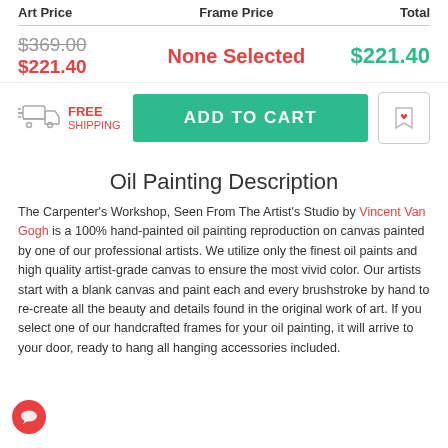| Art Price | Frame Price | Total |
| --- | --- | --- |
| $369.00 / $221.40 | None Selected | $221.40 |
FREE SHIPPING | ADD TO CART | [wishlist icon]
Oil Painting Description
The Carpenter's Workshop, Seen From The Artist's Studio by Vincent Van Gogh is a 100% hand-painted oil painting reproduction on canvas painted by one of our professional artists. We utilize only the finest oil paints and high quality artist-grade canvas to ensure the most vivid color. Our artists start with a blank canvas and paint each and every brushstroke by hand to re-create all the beauty and details found in the original work of art. If you select one of our handcrafted frames for your oil painting, it will arrive to your door, ready to hang all hanging accessories included.